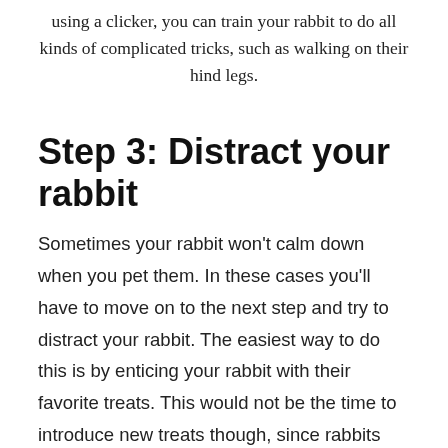using a clicker, you can train your rabbit to do all kinds of complicated tricks, such as walking on their hind legs.
Step 3: Distract your rabbit
Sometimes your rabbit won't calm down when you pet them. In these cases you'll have to move on to the next step and try to distract your rabbit. The easiest way to do this is by enticing your rabbit with their favorite treats. This would not be the time to introduce new treats though, since rabbits can sometimes be wary of a new type of food. Instead make sure you offer them something that you know they'll love. When a rabbit is fixated on getting the yummy piece of fruit in your hand, they'll often forget